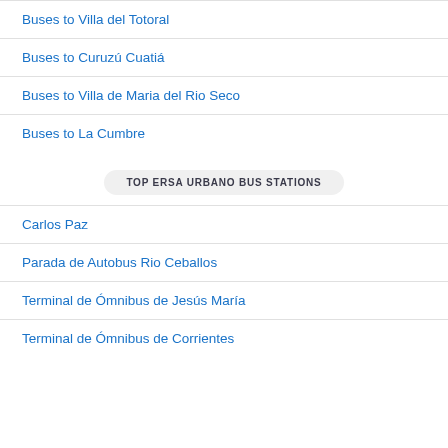Buses to Villa del Totoral
Buses to Curuzú Cuatiá
Buses to Villa de Maria del Rio Seco
Buses to La Cumbre
TOP ERSA URBANO BUS STATIONS
Carlos Paz
Parada de Autobus Rio Ceballos
Terminal de Ómnibus de Jesús María
Terminal de Ómnibus de Corrientes